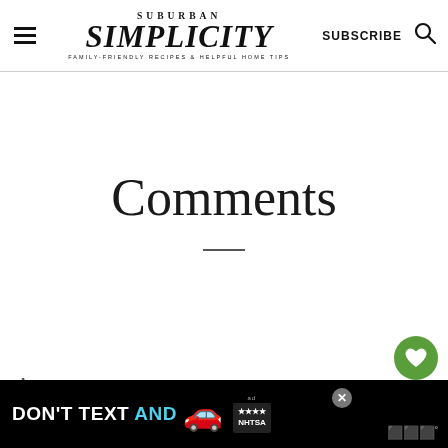Suburban Simplicity — Family-Friendly Recipes & Helpful Home Tips | SUBSCRIBE
Comments
Ann says
[Figure (other): DON'T TEXT AND [car emoji] advertisement banner from NHTSA anti-texting and driving campaign, with close button and WW logo]